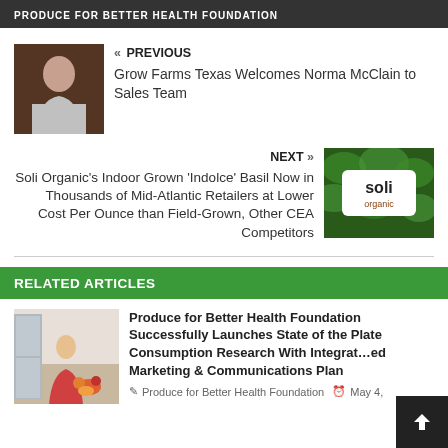PRODUCE FOR BETTER HEALTH FOUNDATION
« PREVIOUS
Grow Farms Texas Welcomes Norma McClain to Sales Team
NEXT »
Soli Organic's Indoor Grown 'Indolce' Basil Now in Thousands of Mid-Atlantic Retailers at Lower Cost Per Ounce than Field-Grown, Other CEA Competitors
RELATED ARTICLES
[Figure (photo): Article thumbnail photo]
Produce for Better Health Foundation Successfully Launches State of the Plate Consumption Research With Integrated Marketing & Communications Plan
Produce for Better Health Foundation   May 4,